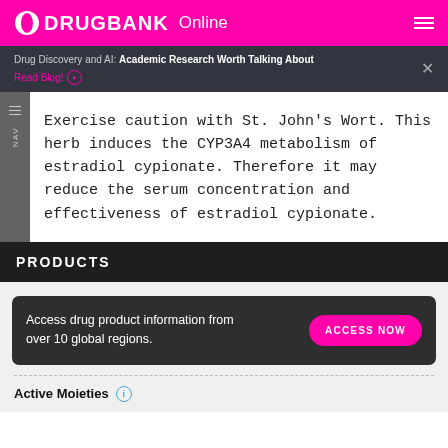DRUGBANK Online
Drug Discovery and AI: Academic Research Worth Talking About Read Blog!
Exercise caution with St. John's Wort. This herb induces the CYP3A4 metabolism of estradiol cypionate. Therefore it may reduce the serum concentration and effectiveness of estradiol cypionate.
PRODUCTS
Access drug product information from over 10 global regions. ACCESS NOW
Active Moieties